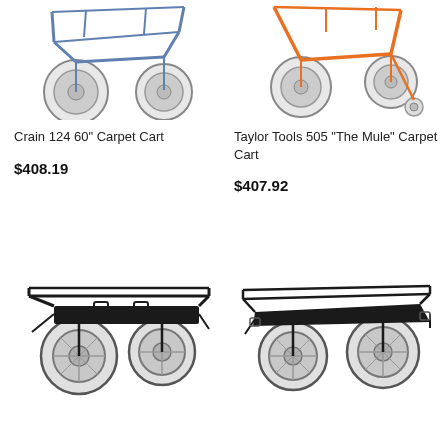[Figure (photo): Crain 124 60 inch Carpet Cart - blue/gray frame with two large wheels, top view cropped]
Crain 124 60" Carpet Cart
$408.19
[Figure (photo): Taylor Tools 505 The Mule Carpet Cart - orange metal frame with two large wheels and small rear caster, top view cropped]
Taylor Tools 505 "The Mule" Carpet Cart
$407.92
[Figure (photo): Black carpet cart with two large pneumatic wheels, flat platform frame, front-left view]
[Figure (photo): Black carpet cart with two large pneumatic wheels, flat platform frame, front-right view]